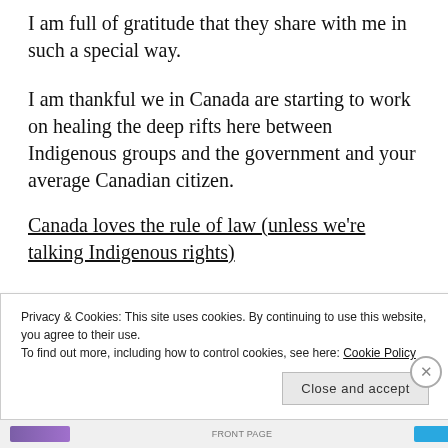I am full of gratitude that they share with me in such a special way.
I am thankful we in Canada are starting to work on healing the deep rifts here between Indigenous groups and the government and your average Canadian citizen.
Canada loves the rule of law (unless we're talking Indigenous rights)
Privacy & Cookies: This site uses cookies. By continuing to use this website, you agree to their use.
To find out more, including how to control cookies, see here: Cookie Policy